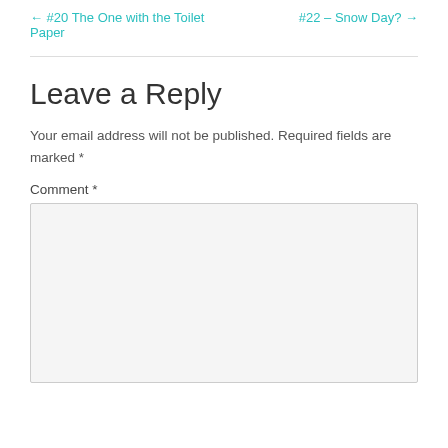← #20 The One with the Toilet Paper
#22 – Snow Day? →
Leave a Reply
Your email address will not be published. Required fields are marked *
Comment *